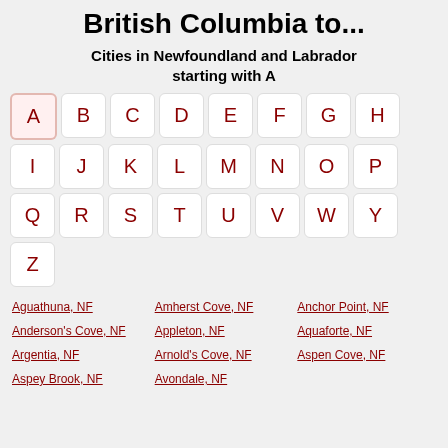British Columbia to...
Cities in Newfoundland and Labrador starting with A
[Figure (other): Alphabet navigation grid with letters A through Z in rounded rectangle tiles, letter A highlighted as active]
Aguathuna, NF
Amherst Cove, NF
Anchor Point, NF
Anderson's Cove, NF
Appleton, NF
Aquaforte, NF
Argentia, NF
Arnold's Cove, NF
Aspen Cove, NF
Aspey Brook, NF
Avondale, NF